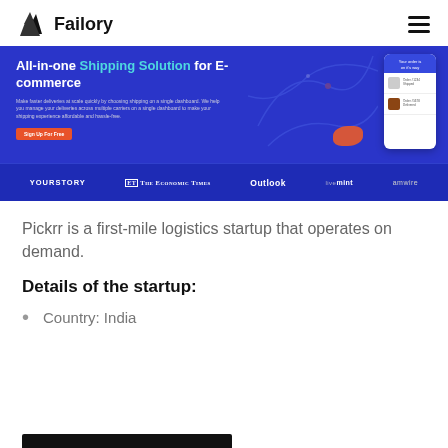Failory
[Figure (screenshot): Pickrr website banner showing 'All-in-one Shipping Solution for E-commerce' on blue background with phone mockup and press logos: YOURSTORY, THE ECONOMIC TIMES, Outlook, livemint, amwire]
Pickrr is a first-mile logistics startup that operates on demand.
Details of the startup:
Country: India